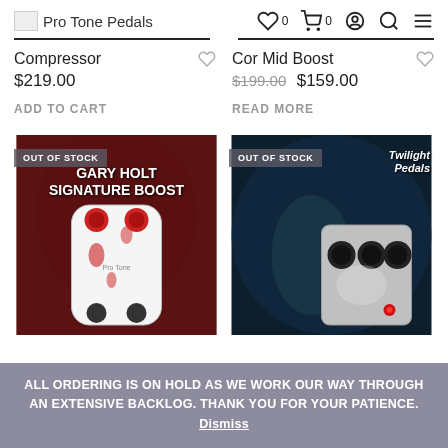Pro Tone Pedals
Compressor $219.00 ADD TO CART
Cor Mid Boost $199.00 $159.00 READ MORE
[Figure (screenshot): Gary Holt Signature Boost guitar pedal product image with OUT OF STOCK badge, dark red background]
[Figure (screenshot): Twilight Pedals guitar pedal product image with OUT OF STOCK badge, dark blue background]
ALL ORDERING IS ON HOLD AS WE WORK OUR WAY THROUGH AN EXTENSIVE BACKLOG. THANK YOU FOR YOUR PATIENCE. Dismiss